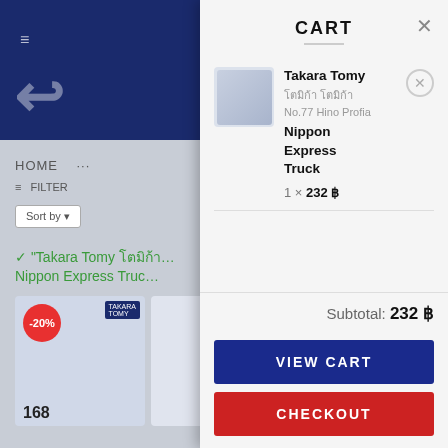[Figure (screenshot): Background showing a shopping website with dark blue header, HOME navigation, sort filter, green checkmark notice about Takara Tomy product added, and product cards below with -20% badge and price 168]
CART
Takara Tomy โตมิก้า โตมิก้า No.77 Hino Profia Nippon Express Truck
1 × 232 ฿
Subtotal: 232 ฿
VIEW CART
CHECKOUT